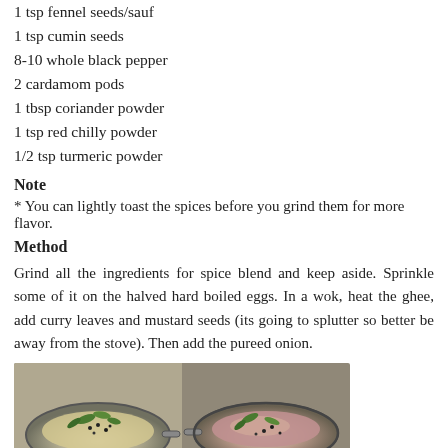1 tsp fennel seeds/sauf
1 tsp cumin seeds
8-10 whole black pepper
2 cardamom pods
1 tbsp coriander powder
1 tsp red chilly powder
1/2 tsp turmeric powder
Note
* You can lightly toast the spices before you grind them for more flavor.
Method
Grind all the ingredients for spice blend and keep aside. Sprinkle some of it on the halved hard boiled eggs. In a wok, heat the ghee, add curry leaves and mustard seeds (its going to splutter so better be away from the stove). Then add the pureed onion.
[Figure (photo): Two cooking photos side by side: left shows a wok with ghee, curry leaves and mustard seeds on a gas stove; right shows a wok with sautéed onion mixture with curry leaves.]